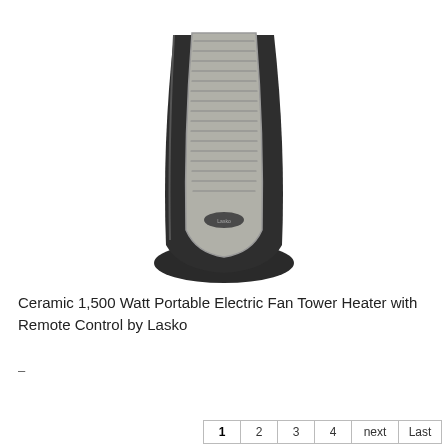[Figure (photo): A black Lasko ceramic tower heater with silver/gray front grille panel and oval base, shown on white background.]
Ceramic 1,500 Watt Portable Electric Fan Tower Heater with Remote Control by Lasko
–
1  2  3  4  next  Last